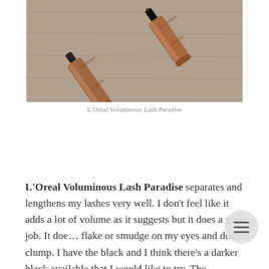[Figure (photo): Two rose-gold/copper colored mascara tubes (L'Oreal Voluminous Lash Paradise) lying on a wood surface]
L’Oreal Voluminous Lash Paradise
L'Oreal Voluminous Lash Paradise separates and lengthens my lashes very well. I don't feel like it adds a lot of volume as it suggests but it does a good job. It does not flake or smudge on my eyes and doesn't clump. I have the black and I think there's a darker black available that I would like to try. The packaging is beautiful and does